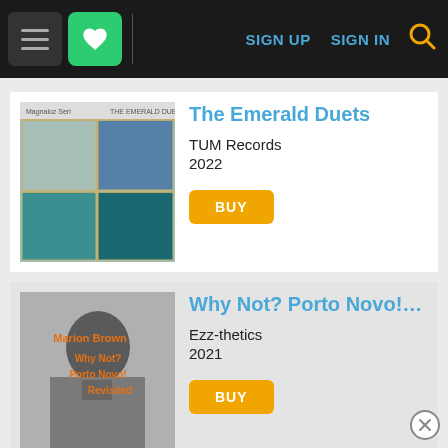Navigation bar with menu, favorites, SIGN UP, SIGN IN, search
[Figure (screenshot): Album cover for The Emerald Duets — abstract painting with teal/blue squares on canvas]
The Emerald Duets
TUM Records
2022
BUY
[Figure (screenshot): Album cover for Why Not? Porto Novo! Revisited — black and white photo of Marion Brown with orange text overlay]
Why Not? Porto Novo!…
Ezz-thetics
2021
BUY